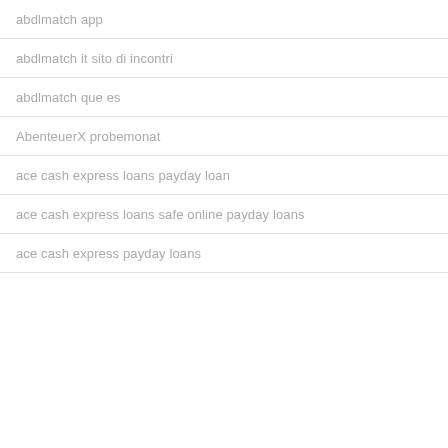abdlmatch app
abdlmatch it sito di incontri
abdlmatch que es
AbenteuerX probemonat
ace cash express loans payday loan
ace cash express loans safe online payday loans
ace cash express payday loans